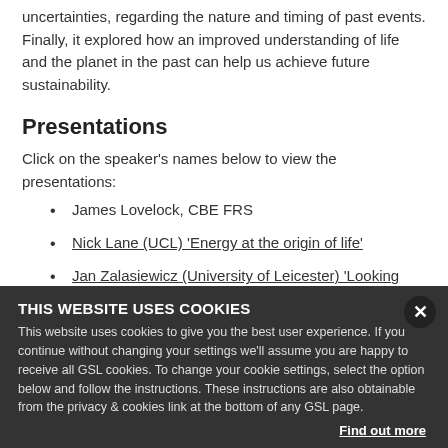uncertainties, regarding the nature and timing of past events. Finally, it explored how an improved understanding of life and the planet in the past can help us achieve future sustainability.
Presentations
Click on the speaker’s names below to view the presentations:
James Lovelock, CBE FRS
Nick Lane (UCL) ‘Energy at the origin of life’
Jan Zalasiewicz (University of Leicester) ‘Looking back from the future at the Anthropocene’
Robert Foley (University of Cambridge) ‘Human evolution, environment and climate’
Podcast
to present day challenges facing the Earth
THIS WEBSITE USES COOKIES
This website uses cookies to give you the best user experience. If you continue without changing your settings we’ll assume you are happy to receive all GSL cookies. To change your cookie settings, select the option below and follow the instructions. These instructions are also obtainable from the privacy & cookies link at the bottom of any GSL page.
Find out more